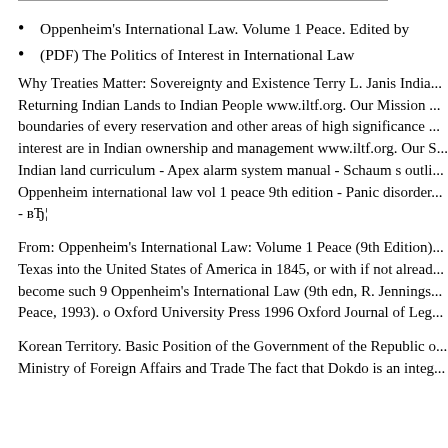Oppenheim's International Law. Volume 1 Peace. Edited by
(PDF) The Politics of Interest in International Law
Why Treaties Matter: Sovereignty and Existence Terry L. Janis India... Returning Indian Lands to Indian People www.iltf.org. Our Mission ... boundaries of every reservation and other areas of high significance ... interest are in Indian ownership and management www.iltf.org. Our S... Indian land curriculum - Apex alarm system manual - Schaum s outli... Oppenheim international law vol 1 peace 9th edition - Panic disorder... - вЂ¦
From: Oppenheim's International Law: Volume 1 Peace (9th Edition)... Texas into the United States of America in 1845, or with if not alread... become such 9 Oppenheim's International Law (9th edn, R. Jennings... Peace, 1993). o Oxford University Press 1996 Oxford Journal of Leg...
Korean Territory. Basic Position of the Government of the Republic o... Ministry of Foreign Affairs and Trade The fact that Dokdo is an integ...